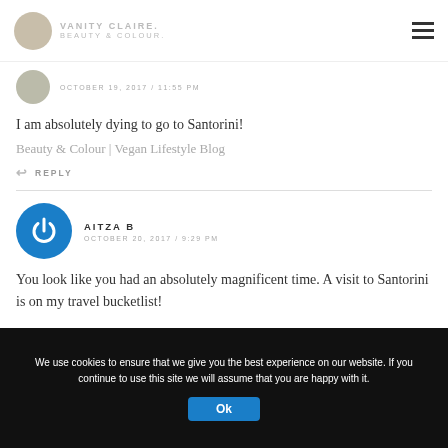VANITY CLAIRE | BEAUTY & COLOUR
OCTOBER 19, 2017 / 11:55 PM
I am absolutely dying to go to Santorini!
Beauty & Colour | Vegan Lifestyle Blog
REPLY
AITZA B
OCTOBER 20, 2017 / 9:29 PM
You look like you had an absolutely magnificent time. A visit to Santorini is on my travel bucketlist!
We use cookies to ensure that we give you the best experience on our website. If you continue to use this site we will assume that you are happy with it.